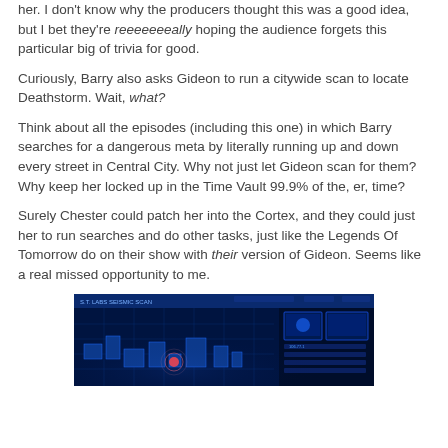her. I don't know why the producers thought this was a good idea, but I bet they're reeeeeeeally hoping the audience forgets this particular big of trivia for good.
Curiously, Barry also asks Gideon to run a citywide scan to locate Deathstorm. Wait, what?
Think about all the episodes (including this one) in which Barry searches for a dangerous meta by literally running up and down every street in Central City. Why not just let Gideon scan for them? Why keep her locked up in the Time Vault 99.9% of the, er, time?
Surely Chester could patch her into the Cortex, and they could just her to run searches and do other tasks, just like the Legends Of Tomorrow do on their show with their version of Gideon. Seems like a real missed opportunity to me.
[Figure (screenshot): A blue-toned screenshot of a futuristic scanning interface, labeled with 'S.T. LABS SEISMIC SCAN' showing a 3D city grid map with glowing blue lines and interface panels.]